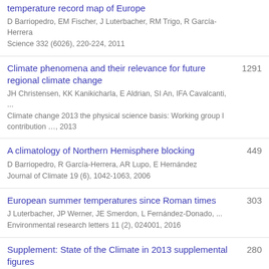temperature record map of Europe
D Barriopedro, EM Fischer, J Luterbacher, RM Trigo, R García-Herrera
Science 332 (6026), 220-224, 2011
Climate phenomena and their relevance for future regional climate change
JH Christensen, KK Kanikicharla, E Aldrian, SI An, IFA Cavalcanti, ...
Climate change 2013 the physical science basis: Working group I contribution …, 2013
1291
A climatology of Northern Hemisphere blocking
D Barriopedro, R García-Herrera, AR Lupo, E Hernández
Journal of Climate 19 (6), 1042-1063, 2006
449
European summer temperatures since Roman times
J Luterbacher, JP Werner, JE Smerdon, L Fernández-Donado, ...
Environmental research letters 11 (2), 024001, 2016
303
Supplement: State of the Climate in 2013 supplemental figures
280